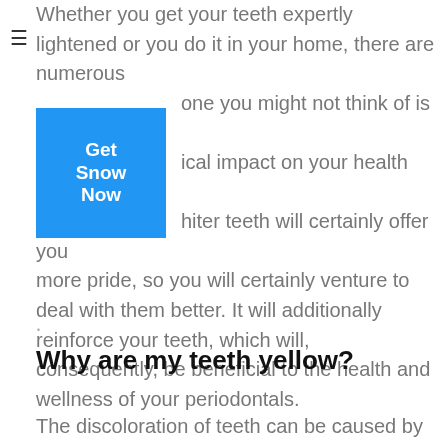Whether you get your teeth expertly lightened or you do it in your home, there are numerous one you might not think of is its ical impact on your health habits. hiter teeth will certainly offer you more pride, so you will certainly venture to deal with them better. It will additionally reinforce your teeth, which will, consequently, be beneficial to the health and wellness of your periodontals.
[Figure (other): Blue button with white bold text reading 'Get Snow Now']
.
Why are my teeth yellow?
The discoloration of teeth can be caused by a